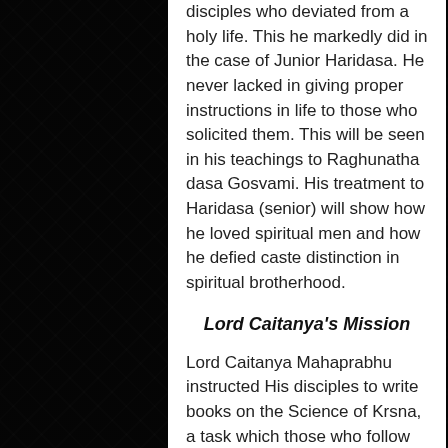disciples who deviated from a holy life. This he markedly did in the case of Junior Haridasa. He never lacked in giving proper instructions in life to those who solicited them. This will be seen in his teachings to Raghunatha dasa Gosvami. His treatment to Haridasa (senior) will show how he loved spiritual men and how he defied caste distinction in spiritual brotherhood.
Lord Caitanya's Mission
Lord Caitanya Mahaprabhu instructed His disciples to write books on the Science of Krsna, a task which those who follow Him have continued to carry out down to the present day. The elaborations and expositions on the philosophy taught by Lord Caitanya are in fact most voluminous, exacting and consistent due